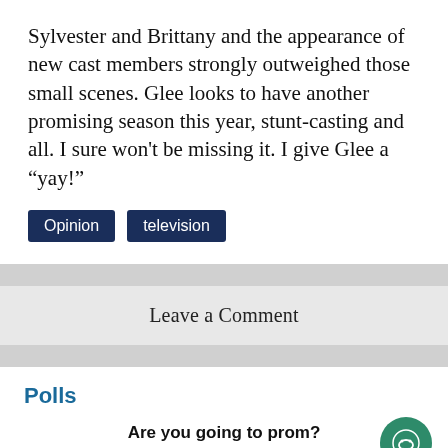Sylvester and Brittany and the appearance of new cast members strongly outweighed those small scenes. Glee looks to have another promising season this year, stunt-casting and all. I sure won't be missing it. I give Glee a “yay!”
Opinion
television
Leave a Comment
Polls
Are you going to prom?
[Figure (bar-chart): Are you going to prom?]